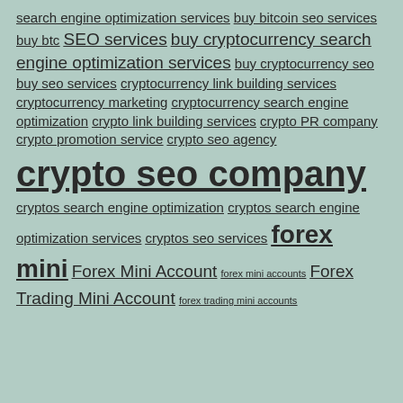search engine optimization services buy bitcoin seo services buy btc SEO services buy cryptocurrency search engine optimization services buy cryptocurrency seo buy seo services cryptocurrency link building services cryptocurrency marketing cryptocurrency search engine optimization crypto link building services crypto PR company crypto promotion service crypto seo agency crypto seo company cryptos search engine optimization cryptos search engine optimization services cryptos seo services forex mini Forex Mini Account forex mini accounts Forex Trading Mini Account forex trading mini accounts